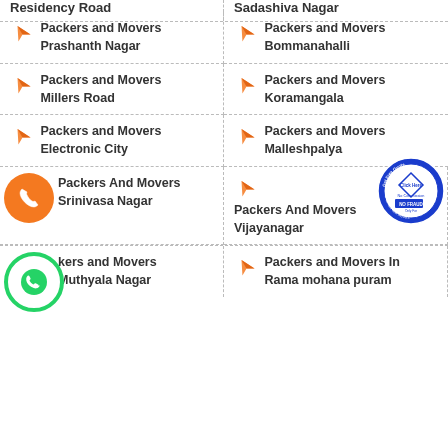Packers and Movers Residency Road
Packers and Movers Sadashiva Nagar
Packers and Movers Prashanth Nagar
Packers and Movers Bommanahalli
Packers and Movers Millers Road
Packers and Movers Koramangala
Packers and Movers Electronic City
Packers and Movers Malleshpalya
Packers And Movers Srinivasa Nagar
Packers And Movers Vijayanagar
Packers and Movers Muthyala Nagar
Packers and Movers In Rama mohana puram
[Figure (logo): Orange circle with phone/call icon]
[Figure (logo): Green WhatsApp circle icon]
[Figure (logo): Blue circular badge: Get Free Quote, Click Here, No Commission, NO FRAUD, Only For Packers and Movers]